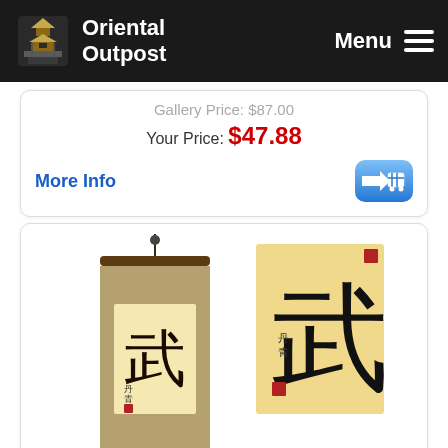Oriental Outpost | Menu
Gallery Price: $87.00
Your Price: $47.88
More Info
[Figure (photo): Two views of a Chinese/Japanese calligraphy scroll showing the character for Warrior Spirit (武). Left view shows the full scroll; right view shows a close-up of the character with artist seal.]
Warrior Spirit Martial Chinese / Japanese Kanji Character Scroll